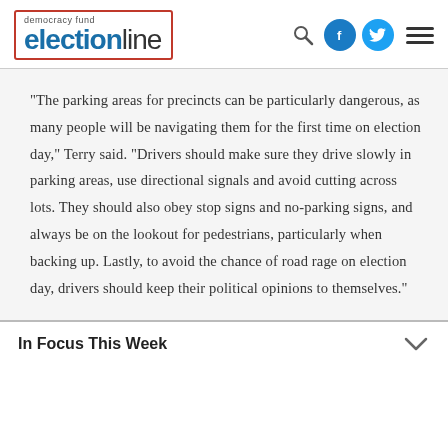democracy fund electionline
“The parking areas for precincts can be particularly dangerous, as many people will be navigating them for the first time on election day,” Terry said. “Drivers should make sure they drive slowly in parking areas, use directional signals and avoid cutting across lots. They should also obey stop signs and no-parking signs, and always be on the lookout for pedestrians, particularly when backing up. Lastly, to avoid the chance of road rage on election day, drivers should keep their political opinions to themselves.”
In Focus This Week